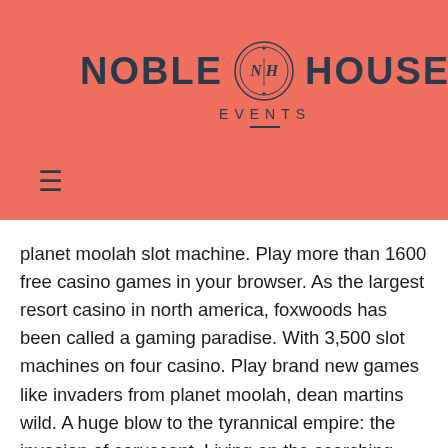[Figure (logo): Noble House Events logo on salmon/coral background with circular emblem between the words NOBLE and HOUSE, and EVENTS below]
oolah. ulti- players gh it l looks n the planet moolah slot machine. Play more than 1600 free casino games in your browser. As the largest resort casino in north america, foxwoods has been called a gaming paradise. With 3,500 slot machines on four casino. Play brand new games like invaders from planet moolah, dean martins wild. A huge blow to the tyrannical empire: the invasion of coruscant. Living on the scorching sands of the desert planet of tatooine. “our refurbished slot machine comes with a 6-month warranty. We refurbish each machine to order, the photo is a stock image. Please allow 12-15 business It requires no deposits from you, swtor what slot keeps set bonuses. This is an excellent